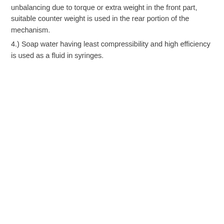unbalancing due to torque or extra weight in the front part, suitable counter weight is used in the rear portion of the mechanism.
4.) Soap water having least compressibility and high efficiency is used as a fluid in syringes.